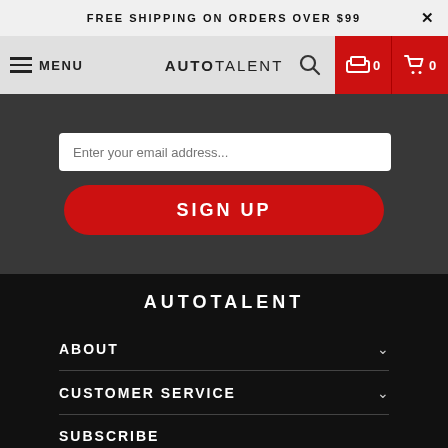FREE SHIPPING ON ORDERS OVER $99
[Figure (screenshot): Navigation bar with hamburger menu, MENU text, AUTOTALENT logo, search icon, garage icon with 0, and cart icon with 0]
Enter your email address...
SIGN UP
AUTOTALENT
ABOUT
CUSTOMER SERVICE
SUBSCRIBE
Enter your email address...